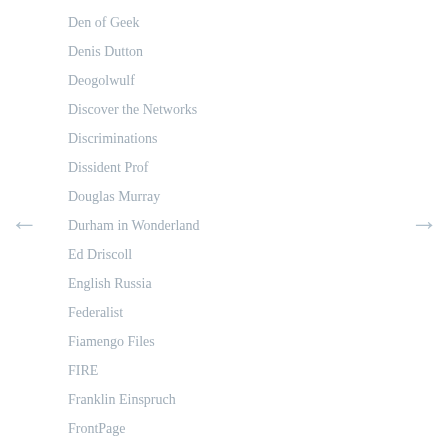Den of Geek
Denis Dutton
Deogolwulf
Discover the Networks
Discriminations
Dissident Prof
Douglas Murray
Durham in Wonderland
Ed Driscoll
English Russia
Federalist
Fiamengo Files
FIRE
Franklin Einspruch
FrontPage
Gad Saad
Gas
Gateway Pundit
Gay Patriot
Gene Expression
Gettr
Girl Writes What
Greatest Hits, Sort Of
Guido Fawkes